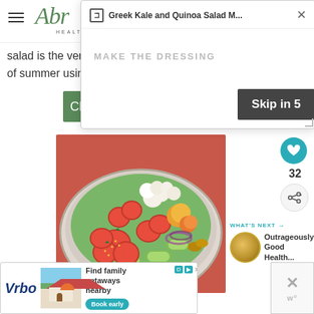Abr... Health... (logo/navigation header)
[Figure (screenshot): Browser popup tab showing 'Greek Kale and Quinoa Salad M...' with a close button X, overlaid on a website with text and a Skip in 5 button]
salad is the very repres... of summer using...
Che... (Check button, partially visible, green)
[Figure (photo): Overhead photo of a colorful salad bowl with strawberries, cucumbers, cherry tomatoes, red onion, and cauliflower]
32
WHAT'S NEXT → Outrageously Good Health...
[Figure (screenshot): Ad banner for Vrbo: Find family getaways nearby, Book early button]